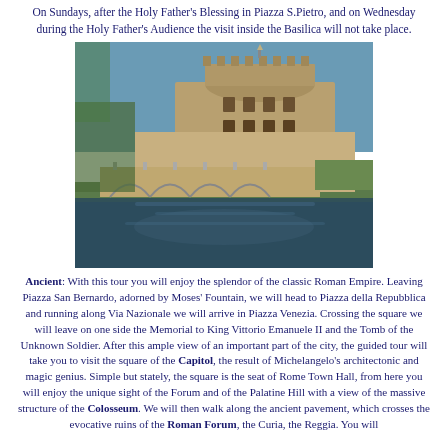On Sundays, after the Holy Father's Blessing in Piazza S.Pietro, and on Wednesday during the Holy Father's Audience the visit inside the Basilica will not take place.
[Figure (photo): Photograph of Castel Sant'Angelo in Rome, showing the castle and bridge over the Tiber River with reflections in the water.]
Ancient: With this tour you will enjoy the splendor of the classic Roman Empire. Leaving Piazza San Bernardo, adorned by Moses' Fountain, we will head to Piazza della Repubblica and running along Via Nazionale we will arrive in Piazza Venezia. Crossing the square we will leave on one side the Memorial to King Vittorio Emanuele II and the Tomb of the Unknown Soldier. After this ample view of an important part of the city, the guided tour will take you to visit the square of the Capitol, the result of Michelangelo's architectonic and magic genius. Simple but stately, the square is the seat of Rome Town Hall, from here you will enjoy the unique sight of the Forum and of the Palatine Hill with a view of the massive structure of the Colosseum. We will then walk along the ancient pavement, which crosses the evocative ruins of the Roman Forum, the Curia, the Reggia. You will